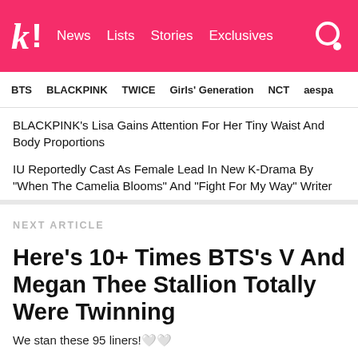kl! News  Lists  Stories  Exclusives
BTS  BLACKPINK  TWICE  Girls' Generation  NCT  aespa
BLACKPINK's Lisa Gains Attention For Her Tiny Waist And Body Proportions
IU Reportedly Cast As Female Lead In New K-Drama By "When The Camelia Blooms" And "Fight For My Way" Writer
NEXT ARTICLE
Here's 10+ Times BTS's V And Megan Thee Stallion Totally Were Twinning
We stan these 95 liners!🤍🤍